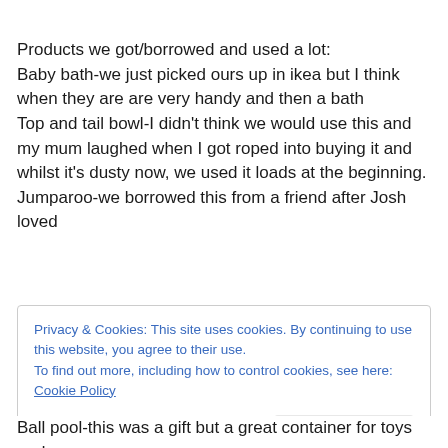Products we got/borrowed and used a lot:
Baby bath-we just picked ours up in ikea but I think when they are are very handy and then a bath
Top and tail bowl-I didn't think we would use this and my mum laughed when I got roped into buying it and whilst it's dusty now, we used it loads at the beginning.
Jumparoo-we borrowed this from a friend after Josh loved
Privacy & Cookies: This site uses cookies. By continuing to use this website, you agree to their use.
To find out more, including how to control cookies, see here: Cookie Policy
Close and accept
Ball pool-this was a gift but a great container for toys and